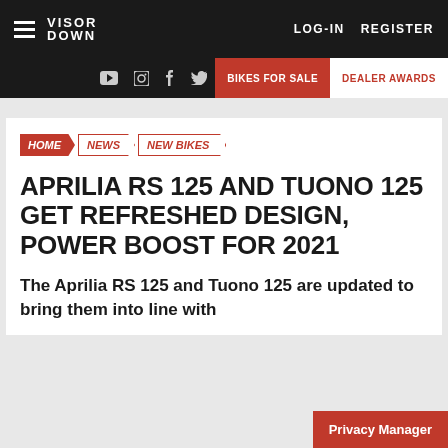VISOR DOWN — LOG-IN  REGISTER
BIKES FOR SALE  DEALER AWARDS
HOME / NEWS / NEW BIKES
APRILIA RS 125 AND TUONO 125 GET REFRESHED DESIGN, POWER BOOST FOR 2021
The Aprilia RS 125 and Tuono 125 are updated to bring them into line with
Privacy Manager